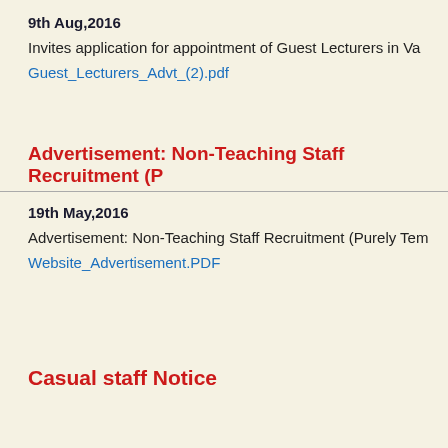9th Aug,2016
Invites application for appointment of Guest Lecturers in Va
Guest_Lecturers_Advt_(2).pdf
Advertisement: Non-Teaching Staff Recruitment (P
19th May,2016
Advertisement: Non-Teaching Staff Recruitment (Purely Tem
Website_Advertisement.PDF
Casual staff Notice